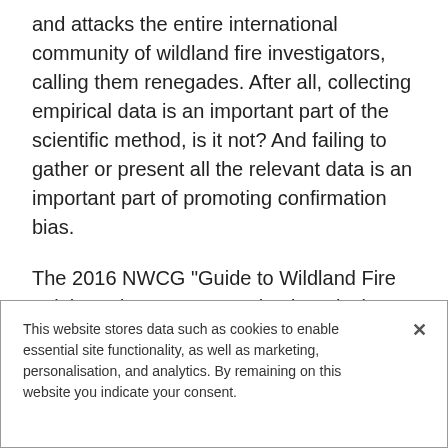and attacks the entire international community of wildland fire investigators, calling them renegades. After all, collecting empirical data is an important part of the scientific method, is it not? And failing to gather or present all the relevant data is an important part of promoting confirmation bias.
The 2016 NWCG “Guide to Wildland Fire Origin and Cause Determination,” is, in fact, a peer-reviewed technical reference that is based on more than 40 years of corporate observations, experience, and research. Peer review is not
This website stores data such as cookies to enable essential site functionality, as well as marketing, personalisation, and analytics. By remaining on this website you indicate your consent.